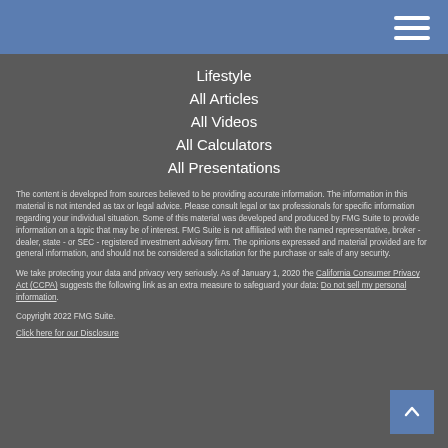Navigation menu header bar
Lifestyle
All Articles
All Videos
All Calculators
All Presentations
The content is developed from sources believed to be providing accurate information. The information in this material is not intended as tax or legal advice. Please consult legal or tax professionals for specific information regarding your individual situation. Some of this material was developed and produced by FMG Suite to provide information on a topic that may be of interest. FMG Suite is not affiliated with the named representative, broker - dealer, state - or SEC - registered investment advisory firm. The opinions expressed and material provided are for general information, and should not be considered a solicitation for the purchase or sale of any security.
We take protecting your data and privacy very seriously. As of January 1, 2020 the California Consumer Privacy Act (CCPA) suggests the following link as an extra measure to safeguard your data: Do not sell my personal information.
Copyright 2022 FMG Suite.
Click here for our Disclosure